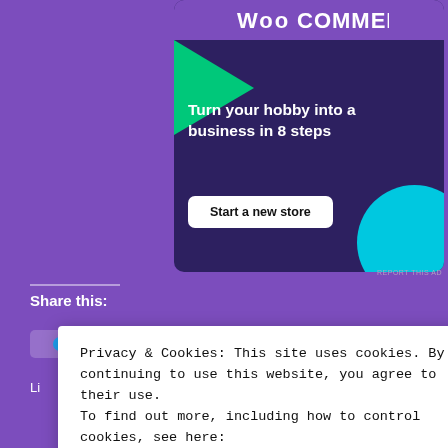[Figure (screenshot): WooCommerce advertisement banner with dark purple background, green triangle shape left, cyan circle shape right, white bold headline 'Turn your hobby into a business in 8 steps', white button 'Start a new store']
REPORT THIS AD
Share this:
[Figure (screenshot): Partially visible social share buttons (Twitter, Facebook, and another)]
Privacy & Cookies: This site uses cookies. By continuing to use this website, you agree to their use.
To find out more, including how to control cookies, see here:
Cookie Policy
Close and accept
[Figure (screenshot): DuckDuckGo advertisement banner - orange background with text 'with more privacy. All in One Free App' and DuckDuckGo logo on right]